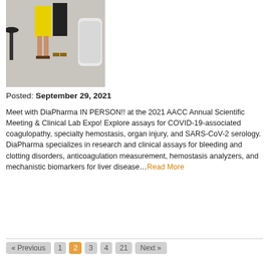[Figure (photo): Photo of two people standing at a trade show booth or exhibition area, one wearing a yellow dress and the other in black pants.]
Posted: September 29, 2021
Meet with DiaPharma IN PERSON!! at the 2021 AACC Annual Scientific Meeting & Clinical Lab Expo! Explore assays for COVID-19-associated coagulopathy, specialty hemostasis, organ injury, and SARS-CoV-2 serology. DiaPharma specializes in research and clinical assays for bleeding and clotting disorders, anticoagulation measurement, hemostasis analyzers, and mechanistic biomarkers for liver disease…Read More
« Previous  1  2  3  4  21  Next »